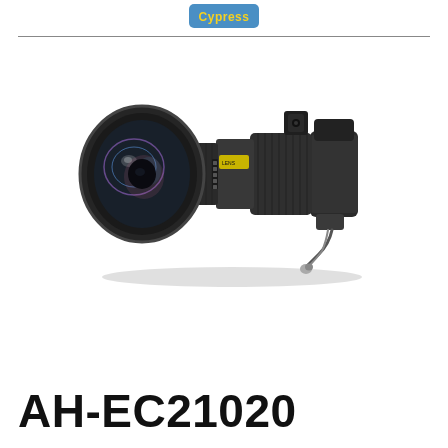Cypress
[Figure (photo): Projector lens (AH-EC21020) — a large wide-angle zoom lens with ribbed focus/zoom rings, connector cables, and a wide front element, photographed on white background]
AH-EC21020